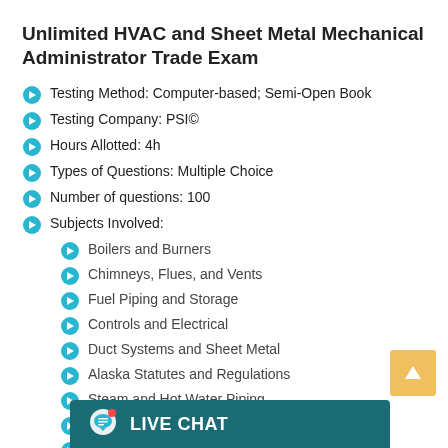Unlimited HVAC and Sheet Metal Mechanical Administrator Trade Exam
Testing Method: Computer-based; Semi-Open Book
Testing Company: PSI©
Hours Allotted: 4h
Types of Questions: Multiple Choice
Number of questions: 100
Subjects Involved:
Boilers and Burners
Chimneys, Flues, and Vents
Fuel Piping and Storage
Controls and Electrical
Duct Systems and Sheet Metal
Alaska Statutes and Regulations
Steam and Hot Water Piping
Air Conditioning Systems
Refrigeration (partially obscured)
Chillers (partially obscured)